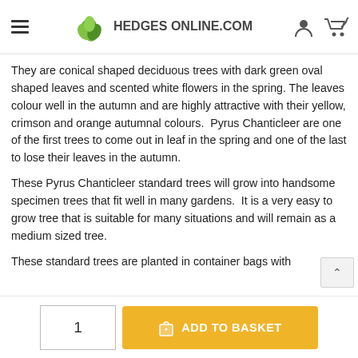Hedges Online.com — navigation header with logo, hamburger menu, user icon, and cart icon
They are conical shaped deciduous trees with dark green oval shaped leaves and scented white flowers in the spring. The leaves colour well in the autumn and are highly attractive with their yellow, crimson and orange autumnal colours.  Pyrus Chanticleer are one of the first trees to come out in leaf in the spring and one of the last to lose their leaves in the autumn.
These Pyrus Chanticleer standard trees will grow into handsome specimen trees that fit well in many gardens.  It is a very easy to grow tree that is suitable for many situations and will remain as a medium sized tree.
These standard trees are planted in container bags with